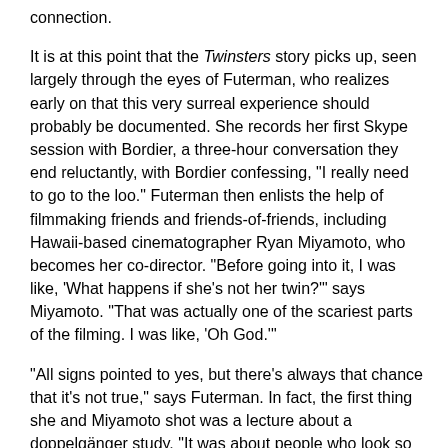connection.
It is at this point that the Twinsters story picks up, seen largely through the eyes of Futerman, who realizes early on that this very surreal experience should probably be documented. She records her first Skype session with Bordier, a three-hour conversation they end reluctantly, with Bordier confessing, "I really need to go to the loo." Futerman then enlists the help of filmmaking friends and friends-of-friends, including Hawaii-based cinematographer Ryan Miyamoto, who becomes her co-director. "Before going into it, I was like, 'What happens if she's not her twin?'" says Miyamoto. "That was actually one of the scariest parts of the filming. I was like, 'Oh God.'"
"All signs pointed to yes, but there's always that chance that it's not true," says Futerman. In fact, the first thing she and Miyamoto shot was a lecture about a doppelgänger study. "It was about people who look so identical and just have no relation at all," she recalls. The likeness Bordier and Futerman share is truly uncanny, and part of the joy of the movie is in witnessing not just the incredulous stares they receive from friends and family (which still happen, says Futerman) but the way they stare at each other, entranced. It is their palpable connection that drives the film. When they see each other,